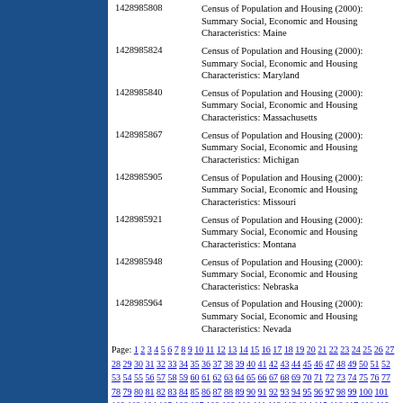| ID | Description |
| --- | --- |
| 1428985808 | Census of Population and Housing (2000): Summary Social, Economic and Housing Characteristics: Maine |
| 1428985824 | Census of Population and Housing (2000): Summary Social, Economic and Housing Characteristics: Maryland |
| 1428985840 | Census of Population and Housing (2000): Summary Social, Economic and Housing Characteristics: Massachusetts |
| 1428985867 | Census of Population and Housing (2000): Summary Social, Economic and Housing Characteristics: Michigan |
| 1428985905 | Census of Population and Housing (2000): Summary Social, Economic and Housing Characteristics: Missouri |
| 1428985921 | Census of Population and Housing (2000): Summary Social, Economic and Housing Characteristics: Montana |
| 1428985948 | Census of Population and Housing (2000): Summary Social, Economic and Housing Characteristics: Nebraska |
| 1428985964 | Census of Population and Housing (2000): Summary Social, Economic and Housing Characteristics: Nevada |
Page: 1 2 3 4 5 6 7 8 9 10 11 12 13 14 15 16 17 18 19 20 21 22 23 24 25 26 27 28 29 30 31 32 33 34 35 36 37 38 39 40 41 42 43 44 45 46 47 48 49 50 51 52 53 54 55 56 57 58 59 60 61 62 63 64 65 66 67 68 69 70 71 72 73 74 75 76 77 78 79 80 81 82 83 84 85 86 87 88 89 90 91 92 93 94 95 96 97 98 99 100 101 102 103 104 105 106 107 108 109 110 111 112 113 114 115 116 117 118 119 120 121 122 123 124 125 126 127 128 129 130 131 132 133 134 135 136 137 138 139 140 141 142 143 144 145 146 147 148 149 150 151 152 153 154 155 156 157 158 159 160 161 162 163